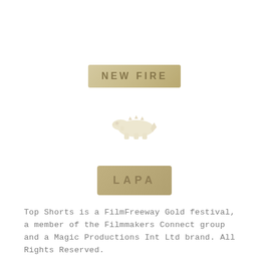[Figure (logo): Three faded/blurred logo images stacked vertically in the center of the page: a text badge reading 'NEW FIRE', a stylized crocodile/lacoste-style illustration, and a rectangular badge reading 'LAPA' or 'LAFA']
Top Shorts is a FilmFreeway Gold festival, a member of the Filmmakers Connect group and a Magic Productions Int Ltd brand. All Rights Reserved.